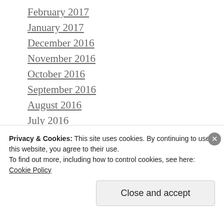February 2017
January 2017
December 2016
November 2016
October 2016
September 2016
August 2016
July 2016
June 2016
May 2016
April 2016
March 2016
February 2016
Privacy & Cookies: This site uses cookies. By continuing to use this website, you agree to their use.
To find out more, including how to control cookies, see here: Cookie Policy